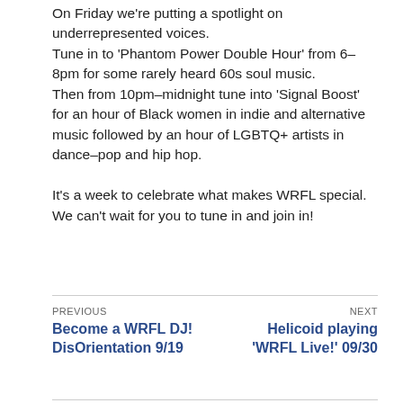On Friday we're putting a spotlight on underrepresented voices.
Tune in to 'Phantom Power Double Hour' from 6–8pm for some rarely heard 60s soul music.
Then from 10pm–midnight tune into 'Signal Boost' for an hour of Black women in indie and alternative music followed by an hour of LGBTQ+ artists in dance–pop and hip hop.

It's a week to celebrate what makes WRFL special. We can't wait for you to tune in and join in!
PREVIOUS: Become a WRFL DJ! DisOrientation 9/19 | NEXT: Helicoid playing 'WRFL Live!' 09/30